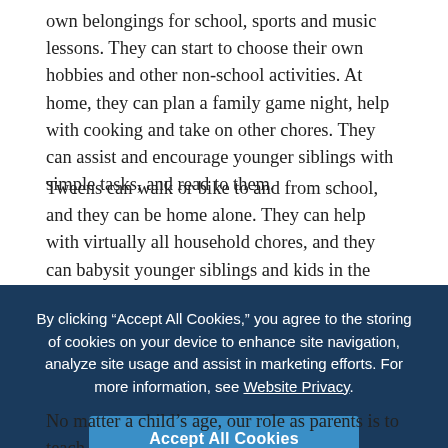own belongings for school, sports and music lessons. They can start to choose their own hobbies and other non-school activities. At home, they can plan a family game night, help with cooking and take on other chores. They can assist and encourage younger siblings with simple tasks, and read to them.
Tweens can walk or bike to and from school, and they can be home alone. They can help with virtually all household chores, and they can babysit younger siblings and kids in the neighborhood. If they are having an issue at school or on a sports team, they can talk directly to their teacher or coach to work out a solution.
Teens can have more of their own social activities. They can talk with their doctor on their own and begin to schedule their own appointments. They may work at a part-time job and do volunteer work. Teens of driving age may earn the privilege of borrowing the family car.
No matter a child's age, our role as parents is to teach
By clicking “Accept All Cookies,” you agree to the storing of cookies on your device to enhance site navigation, analyze site usage and assist in marketing efforts. For more information, see Website Privacy.